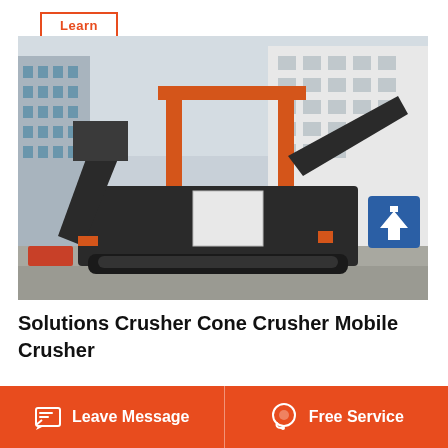Learn More
[Figure (photo): Mobile cone crusher machine on tracks parked in an industrial yard, with an orange gantry crane and factory buildings in the background. The machine is large, dark grey/black with orange accents, featuring conveyor belts and crushing equipment.]
Solutions Crusher Cone Crusher Mobile Crusher
Leave Message
Free Service